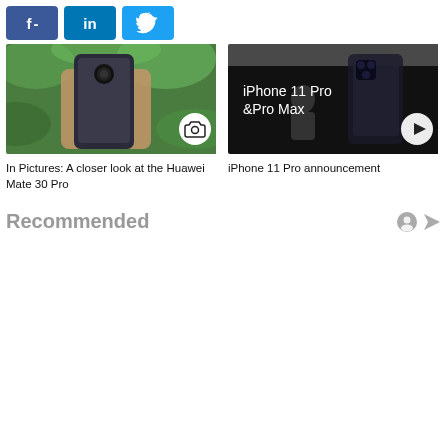[Figure (screenshot): Social share buttons: Facebook (f -), LinkedIn (in), Twitter (bird icon)]
[Figure (photo): Photo of Huawei Mate 30 Pro smartphone held in hand with green leaves background, with camera icon overlay]
[Figure (screenshot): iPhone 11 Pro and Pro Max announcement video thumbnail with play button overlay]
In Pictures: A closer look at the Huawei Mate 30 Pro
iPhone 11 Pro announcement
Recommended